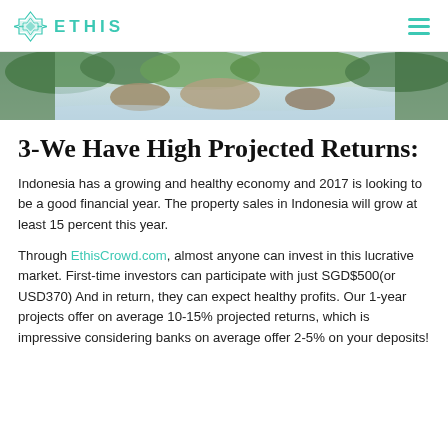ETHIS
[Figure (photo): Outdoor nature photo showing a stream or river with rocks and green vegetation, used as a hero banner image.]
3-We Have High Projected Returns:
Indonesia has a growing and healthy economy and 2017 is looking to be a good financial year. The property sales in Indonesia will grow at least 15 percent this year.
Through EthisCrowd.com, almost anyone can invest in this lucrative market. First-time investors can participate with just SGD$500(or USD370) And in return, they can expect healthy profits. Our 1-year projects offer on average 10-15% projected returns, which is impressive considering banks on average offer 2-5% on your deposits!